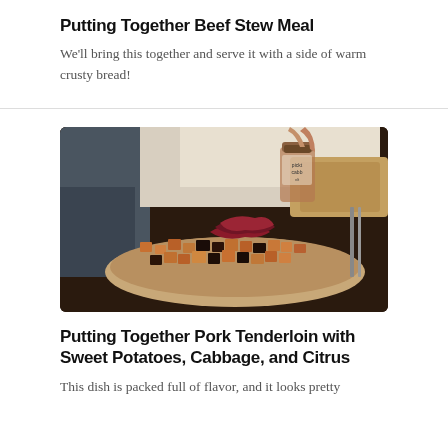Putting Together Beef Stew Meal
We'll bring this together and serve it with a side of warm crusty bread!
[Figure (photo): A plate of food being topped with pickled cabbage from a jar, showing a dish with cubed sweet potatoes and roasted pork tenderloin on a wooden table setting.]
Putting Together Pork Tenderloin with Sweet Potatoes, Cabbage, and Citrus
This dish is packed full of flavor, and it looks pretty